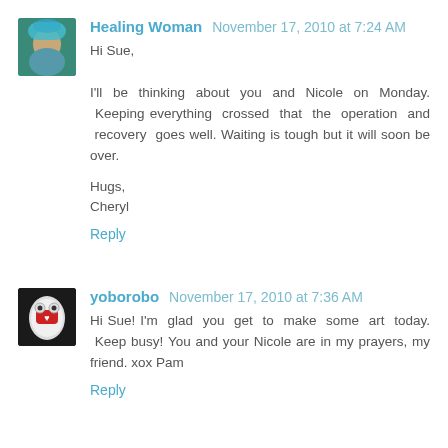Healing Woman  November 17, 2010 at 7:24 AM
Hi Sue,

I'll be thinking about you and Nicole on Monday. Keeping everything crossed that the operation and recovery goes well. Waiting is tough but it will soon be over.

Hugs,
Cheryl
Reply
yoborobo  November 17, 2010 at 7:36 AM
Hi Sue! I'm glad you get to make some art today. Keep busy! You and your Nicole are in my prayers, my friend. xox Pam
Reply